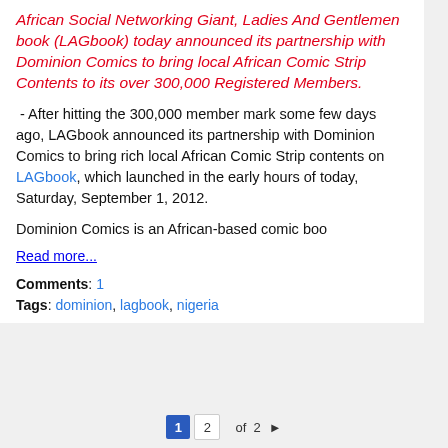African Social Networking Giant, Ladies And Gentlemen book (LAGbook) today announced its partnership with Dominion Comics to bring local African Comic Strip Contents to its over 300,000 Registered Members.
- After hitting the 300,000 member mark some few days ago, LAGbook announced its partnership with Dominion Comics to bring rich local African Comic Strip contents on LAGbook, which launched in the early hours of today, Saturday, September 1, 2012.
Dominion Comics is an African-based comic boo
Read more...
Comments: 1
Tags: dominion, lagbook, nigeria
1  2  of  2  ▶